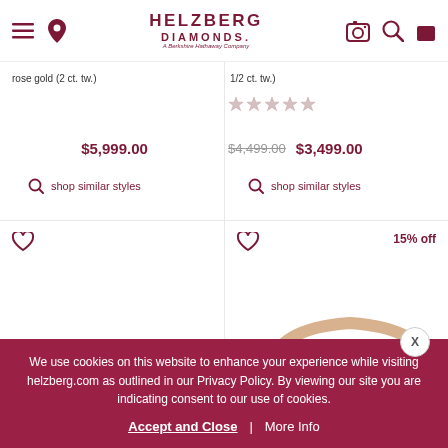[Figure (screenshot): Helzberg Diamonds website header with hamburger menu, location pin, logo, camera search, search icon, and shopping bag icon]
rose gold (2 ct. tw.)
1/2 ct. tw.)
$5,999.00
$4,499.00  $3,499.00
shop similar styles
shop similar styles
15% off
We use cookies on this website to enhance your experience while visiting helzberg.com as outlined in our Privacy Policy. By viewing our site you are indicating consent to our use of cookies.
Accept and Close | More Info